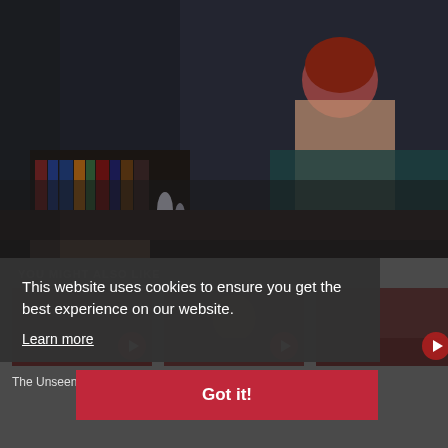[Figure (photo): Dark moody film still: woman with red hair in dark room with bookshelves, reclining on a couch draped in teal/dark fabric]
YOU MIGHT ALSO LIKE
[Figure (photo): Thumbnail: The Unseen - dark film still with play button]
[Figure (photo): Thumbnail: Skin Walker - older man film still with play button]
[Figure (photo): Thumbnail: The Caged - dark film still with play button]
[Figure (photo): Thumbnail: TRAILER - play button on dark background]
The Unseen
Skin Walker
The Caged
This website uses cookies to ensure you get the best experience on our website.
Learn more
Got it!